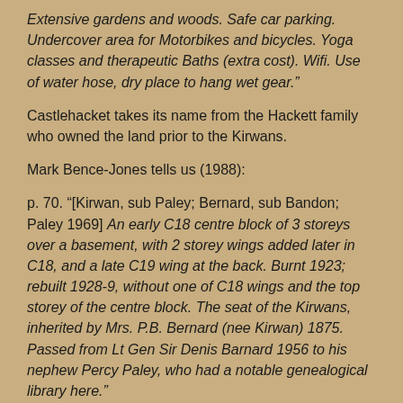Extensive gardens and woods. Safe car parking. Undercover area for Motorbikes and bicycles. Yoga classes and therapeutic Baths (extra cost). Wifi. Use of water hose, dry place to hang wet gear."
Castlehacket takes its name from the Hackett family who owned the land prior to the Kirwans.
Mark Bence-Jones tells us (1988):
p. 70. “[Kirwan, sub Paley; Bernard, sub Bandon; Paley 1969] An early C18 centre block of 3 storeys over a basement, with 2 storey wings added later in C18, and a late C19 wing at the back. Burnt 1923; rebuilt 1928-9, without one of C18 wings and the top storey of the centre block. The seat of the Kirwans, inherited by Mrs. P.B. Bernard (nee Kirwan) 1875. Passed from Lt Gen Sir Denis Barnard 1956 to his nephew Percy Paley, who had a notable genealogical library here."